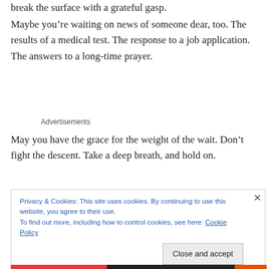break the surface with a grateful gasp.
Maybe you’re waiting on news of someone dear, too. The results of a medical test. The response to a job application. The answers to a long-time prayer.
Advertisements
May you have the grace for the weight of the wait. Don’t fight the descent. Take a deep breath, and hold on.
Privacy & Cookies: This site uses cookies. By continuing to use this website, you agree to their use.
To find out more, including how to control cookies, see here: Cookie Policy
Close and accept